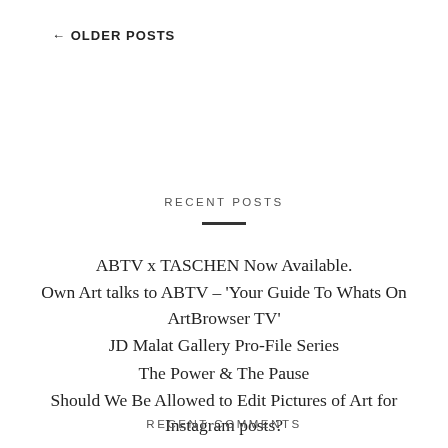← OLDER POSTS
RECENT POSTS
ABTV x TASCHEN Now Available.
Own Art talks to ABTV – 'Your Guide To Whats On ArtBrowser TV'
JD Malat Gallery Pro-File Series
The Power & The Pause
Should We Be Allowed to Edit Pictures of Art for Instagram posts?
RECENT COMMENTS